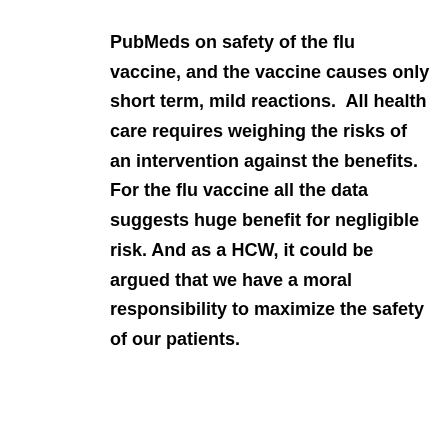PubMeds on safety of the flu vaccine, and the vaccine causes only short term, mild reactions.  All health care requires weighing the risks of an intervention against the benefits. For the flu vaccine all the data suggests huge benefit for negligible risk. And as a HCW, it could be argued that we have a moral responsibility to maximize the safety of our patients.